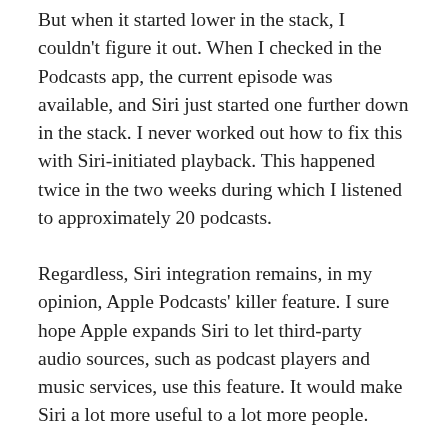But when it started lower in the stack, I couldn't figure it out. When I checked in the Podcasts app, the current episode was available, and Siri just started one further down in the stack. I never worked out how to fix this with Siri-initiated playback. This happened twice in the two weeks during which I listened to approximately 20 podcasts.
Regardless, Siri integration remains, in my opinion, Apple Podcasts' killer feature. I sure hope Apple expands Siri to let third-party audio sources, such as podcast players and music services, use this feature. It would make Siri a lot more useful to a lot more people.
THE APPLE PODCASTS APP NEEDS WORK